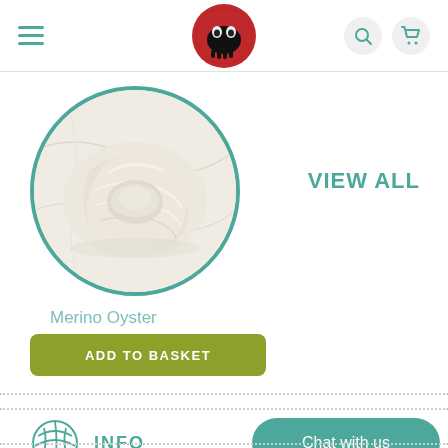[Figure (screenshot): Website header with hamburger menu icon on left, wool/yarn shop logo (red circle with sheep skull icon) in center, search and cart icons on right]
[Figure (photo): Circular product image of Merino Oyster wool roving - a cream/off-white twisted skein of wool on marble background, framed in teal circle border]
VIEW ALL
Merino Oyster
ADD TO BASKET
[Figure (illustration): Teal yarn ball icon with needle]
INFO
Chat with us